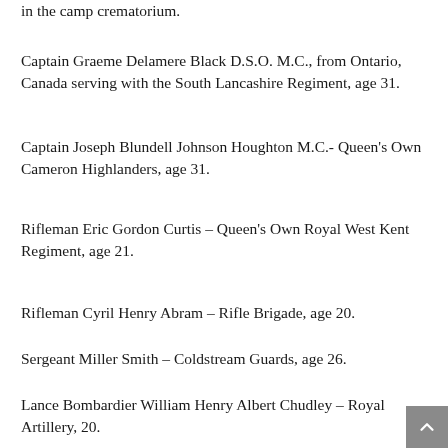in the camp crematorium.
Captain Graeme Delamere Black D.S.O. M.C., from Ontario, Canada serving with the South Lancashire Regiment, age 31.
Captain Joseph Blundell Johnson Houghton M.C.- Queen's Own Cameron Highlanders, age 31.
Rifleman Eric Gordon Curtis – Queen's Own Royal West Kent Regiment, age 21.
Rifleman Cyril Henry Abram – Rifle Brigade, age 20.
Sergeant Miller Smith – Coldstream Guards, age 26.
Lance Bombardier William Henry Albert Chudley – Royal Artillery, 20.